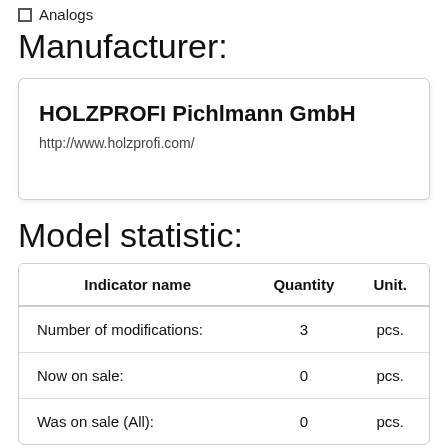Analogs
Manufacturer:
HOLZPROFI Pichlmann GmbH
http://www.holzprofi.com/
Model statistic:
| Indicator name | Quantity | Unit. |
| --- | --- | --- |
| Number of modifications: | 3 | pcs. |
| Now on sale: | 0 | pcs. |
| Was on sale (All): | 0 | pcs. |